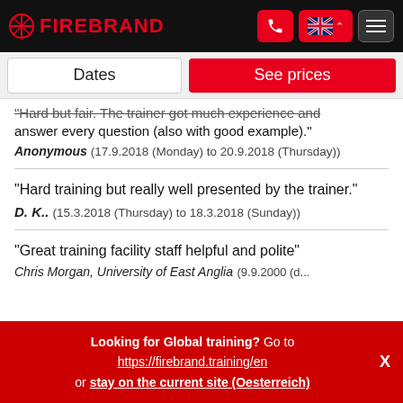FIREBRAND
Dates | See prices
"Hard but fair. The trainer got much experience and answer every question (also with good example)."
Anonymous (17.9.2018 (Monday) to 20.9.2018 (Thursday))
"Hard training but really well presented by the trainer."
D. K.. (15.3.2018 (Thursday) to 18.3.2018 (Sunday))
"Great training facility staff helpful and polite"
Chris Morgan, University of East Anglia
Looking for Global training? Go to https://firebrand.training/en or stay on the current site (Oesterreich)